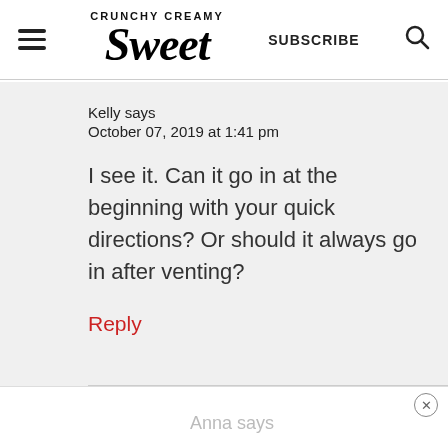CRUNCHY CREAMY Sweet | SUBSCRIBE
Kelly says
October 07, 2019 at 1:41 pm
I see it. Can it go in at the beginning with your quick directions? Or should it always go in after venting?
Reply
Anna says